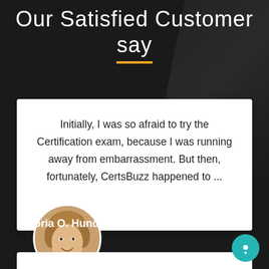Our Satisfied Customer say
Initially, I was so afraid to try the Certification exam, because I was running away from embarrassment. But then, fortunately, CertsBuzz happened to ...
[Figure (photo): Circular portrait photo of a woman with curly hair wearing a white outfit, smiling]
Latoria O. Hundley